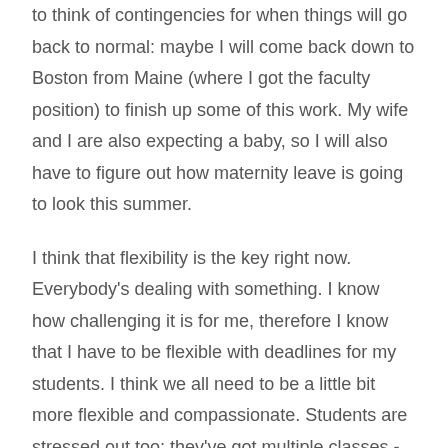to think of contingencies for when things will go back to normal: maybe I will come back down to Boston from Maine (where I got the faculty position) to finish up some of this work. My wife and I are also expecting a baby, so I will also have to figure out how maternity leave is going to look this summer.
I think that flexibility is the key right now. Everybody's dealing with something. I know how challenging it is for me, therefore I know that I have to be flexible with deadlines for my students. I think we all need to be a little bit more flexible and compassionate. Students are stressed out too; they've got multiple classes -I'm teaching only one class and I can't imagine taking like three or four classes, all online, always synchronous, and trying to complete exams, all of that while they are also dealing with being at home. And not everybody's back in a great space. So, that's why flexibility has been a kind of go-to number